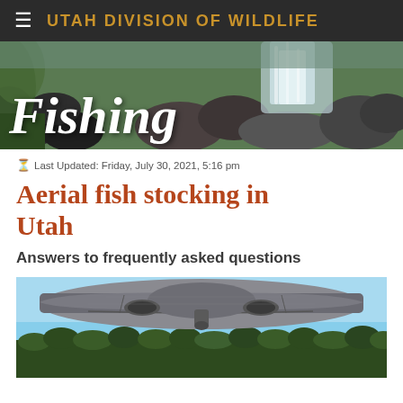UTAH DIVISION OF WILDLIFE
[Figure (photo): Fishing banner with rocks and waterfall/stream in background, white italic bold 'Fishing' text overlay]
Last Updated: Friday, July 30, 2021, 5:16 pm
Aerial fish stocking in Utah
Answers to frequently asked questions
[Figure (photo): Underside of a small aircraft flying over forested mountain landscape with blue sky]